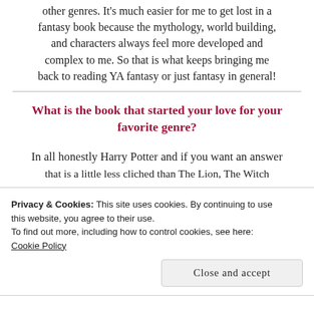other genres. It's much easier for me to get lost in a fantasy book because the mythology, world building, and characters always feel more developed and complex to me. So that is what keeps bringing me back to reading YA fantasy or just fantasy in general!
What is the book that started your love for your favorite genre?
In all honestly Harry Potter and if you want an answer that is a little less cliched than The Lion, The Witch
Privacy & Cookies: This site uses cookies. By continuing to use this website, you agree to their use.
To find out more, including how to control cookies, see here:
Cookie Policy
Close and accept